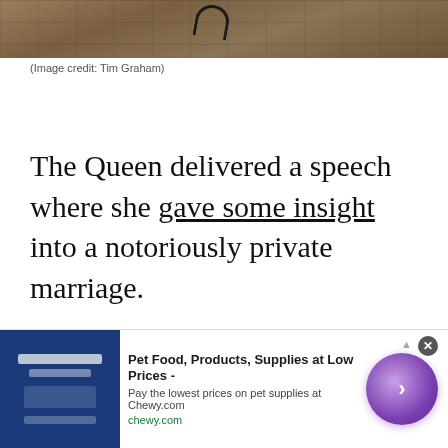[Figure (photo): Top portion of a photo showing cobblestone pavement with a dark metal hook/chain at top center]
(Image credit: Tim Graham)
The Queen delivered a speech where she gave some insight into a notoriously private marriage.
[Figure (screenshot): Advertisement banner: Pet Food, Products, Supplies at Low Prices - Pay the lowest prices on pet supplies at Chewy.com. chewy.com]